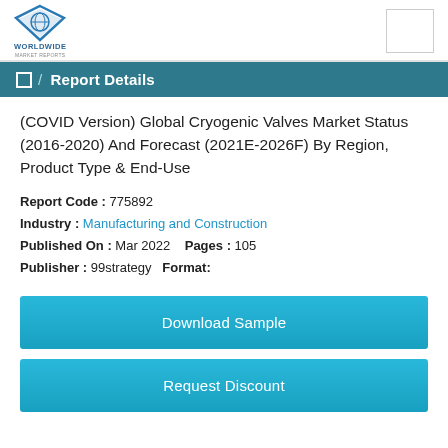[Figure (logo): Worldwide Market Reports logo with blue triangle/shield icon and text WORLDWIDE MARKET REPORTS]
Report Details
(COVID Version) Global Cryogenic Valves Market Status (2016-2020) And Forecast (2021E-2026F) By Region, Product Type & End-Use
Report Code : 775892
Industry : Manufacturing and Construction
Published On : Mar 2022    Pages : 105
Publisher : 99strategy   Format:
Download Sample
Request Discount